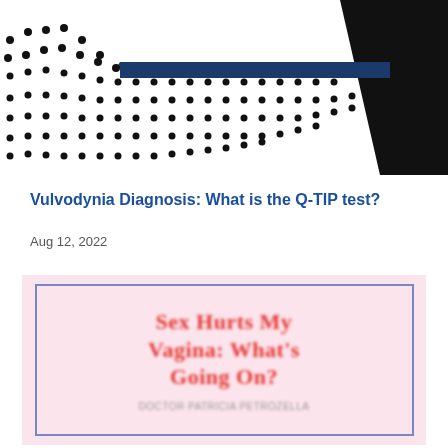[Figure (illustration): Decorative top area with black dot pattern on white background and dark navy/black geometric shapes in top right corner]
Vulvodynia Diagnosis: What is the Q-TIP test?
Aug 12, 2022
[Figure (photo): Blurred book cover with pink background and blue border. Title reads 'Sex Hurts My Vagina: What's Going On?' in red bold serif text with author name below in gray text.]